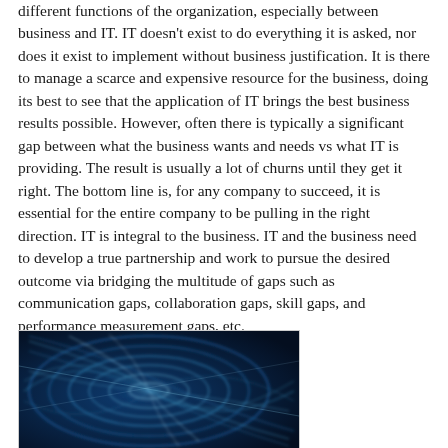different functions of the organization, especially between business and IT. IT doesn't exist to do everything it is asked, nor does it exist to implement without business justification. It is there to manage a scarce and expensive resource for the business, doing its best to see that the application of IT brings the best business results possible. However, often there is typically a significant gap between what the business wants and needs vs what IT is providing. The result is usually a lot of churns until they get it right. The bottom line is, for any company to succeed, it is essential for the entire company to be pulling in the right direction. IT is integral to the business. IT and the business need to develop a true partnership and work to pursue the desired outcome via bridging the multitude of gaps such as communication gaps, collaboration gaps, skill gaps, and performance measurement gaps, etc.
[Figure (photo): A blue-toned abstract swirling pattern photo, resembling water ripples or a digital/technological texture with circular wave motifs in shades of blue and white.]